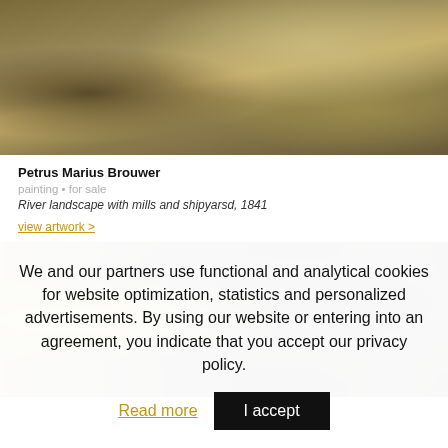[Figure (illustration): Top portion of a painting showing a river landscape with logs and trees, warm earthy tones]
Petrus Marius Brouwer
painting • for sale
River landscape with mills and shipyarsd, 1841
view artwork >
[Figure (illustration): Bottom portion of a second painting, dark tones with yellowish building facade visible on the left and dark background]
We and our partners use functional and analytical cookies for website optimization, statistics and personalized advertisements. By using our website or entering into an agreement, you indicate that you accept our privacy policy.
Read more
I accept